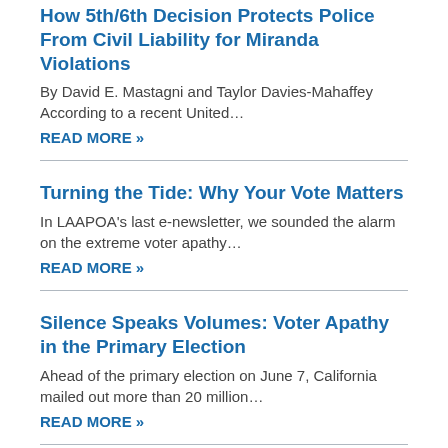How 5th/6th Decision Protects Police From Civil Liability for Miranda Violations
By David E. Mastagni and Taylor Davies-Mahaffey According to a recent United…
READ MORE »
Turning the Tide: Why Your Vote Matters
In LAAPOA's last e-newsletter, we sounded the alarm on the extreme voter apathy…
READ MORE »
Silence Speaks Volumes: Voter Apathy in the Primary Election
Ahead of the primary election on June 7, California mailed out more than 20 million…
READ MORE »
Understanding President Biden's Police Reform Executive Order